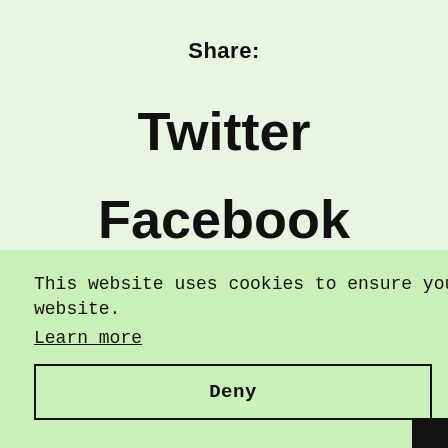Share:
Twitter
Facebook
Email
This website uses cookies to ensure you get the best experience on our website.
Learn more
Deny
Allow